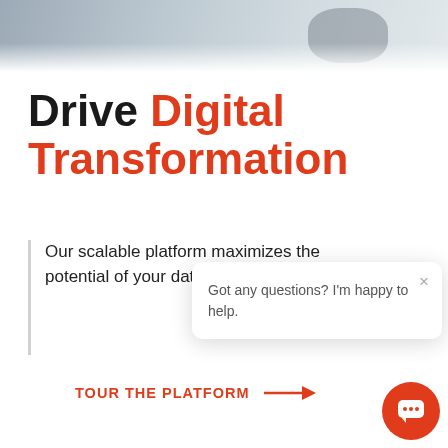[Figure (photo): Partial photo of a person at the top of the page, cropped, gray-blue tones]
Drive Digital Transformation
Our scalable platform maximizes the potential of your data, helping busin...
TOUR THE PLATFORM →
[Figure (screenshot): Chat popup widget with message: Got any questions? I'm happy to help.]
[Figure (illustration): Orange circular chat button in bottom right corner]